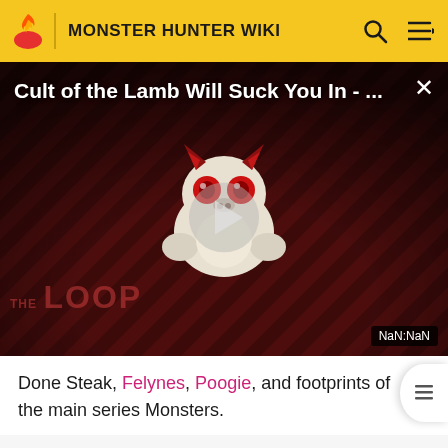MONSTER HUNTER WIKI
[Figure (screenshot): Video thumbnail for 'Cult of the Lamb Will Suck You In - ...' with a play button, dark reddish diagonal stripe background, cartoon monster character, THE LOOP watermark, and NaN:NaN timestamp]
Done Steak, Felynes, Poogie, and footprints of the main series Monsters.
Notes